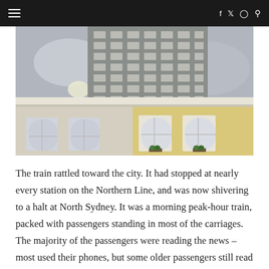≡  f  twitter  instagram  search
[Figure (photo): Photograph of urban buildings: a large multi-storey grey modernist tower block rising above a cream/yellow classical-style building with arched windows, against an overcast grey sky.]
The train rattled toward the city. It had stopped at nearly every station on the Northern Line, and was now shivering to a halt at North Sydney. It was a morning peak-hour train, packed with passengers standing in most of the carriages. The majority of the passengers were reading the news – most used their phones, but some older passengers still read broadsheets whilst trying to